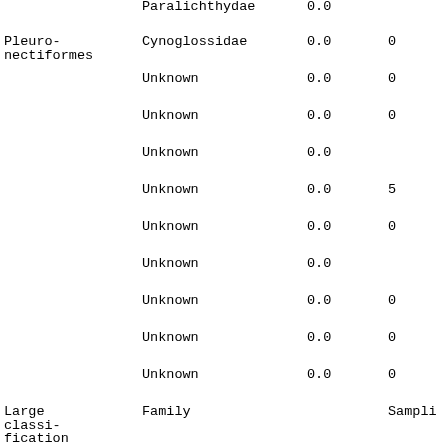| Order | Family | Col3 | Col4 |
| --- | --- | --- | --- |
|  | Paralichthydae | 0.0 |  |
| Pleuro-
nectiformes | Cynoglossidae | 0.0 | 0 |
|  | Unknown | 0.0 | 0 |
|  | Unknown | 0.0 | 0 |
|  | Unknown | 0.0 |  |
|  | Unknown | 0.0 | 5 |
|  | Unknown | 0.0 | 0 |
|  | Unknown | 0.0 |  |
|  | Unknown | 0.0 | 0 |
|  | Unknown | 0.0 | 0 |
|  | Unknown | 0.0 | 0 |
| Large classi-
fication | Family |  | Sampli |